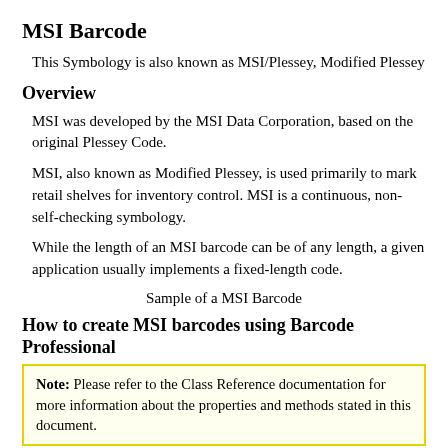MSI Barcode
This Symbology is also known as MSI/Plessey, Modified Plessey
Overview
MSI was developed by the MSI Data Corporation, based on the original Plessey Code.
MSI, also known as Modified Plessey, is used primarily to mark retail shelves for inventory control. MSI is a continuous, non-self-checking symbology.
While the length of an MSI barcode can be of any length, a given application usually implements a fixed-length code.
Sample of a MSI Barcode
How to create MSI barcodes using Barcode Professional
Note: Please refer to the Class Reference documentation for more information about the properties and methods stated in this document.
In order to get a MSI barcode image, please follow these steps:
1. Set the Symbology property to Msi